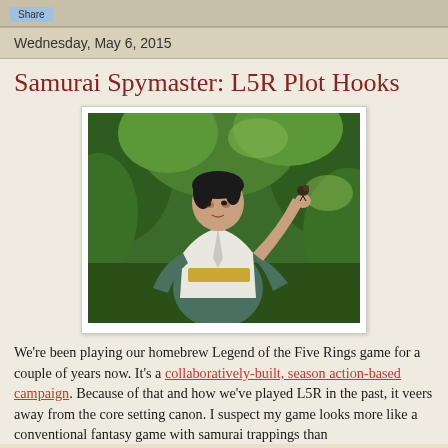Share
Wednesday, May 6, 2015
Samurai Spymaster: L5R Plot Hooks
[Figure (illustration): Digital painting of a young samurai in a white and teal kimono holding a small bird up in his hand, looking upward, surrounded by lush green foliage in a garden setting.]
We're been playing our homebrew Legend of the Five Rings game for a couple of years now. It's a collaboratively-built, season action-based campaign. Because of that and how we've played L5R in the past, it veers away from the core setting canon. I suspect my game looks more like a conventional fantasy game with samurai trappings than